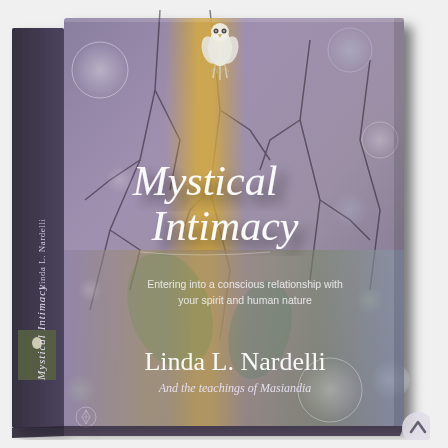[Figure (photo): 3D book cover image of 'Mystical Intimacy' by Linda L. Nardelli and the teachings of Masiandia. The book cover shows a dreamy, ethereal background with bokeh light circles, tree branches and leaves with iridescent colors (purple, gold, green, blue). A white bird (dove or owl) sits at the top. The title 'Mystical Intimacy' is written in white cursive/script font. Below the title is the subtitle 'Entering into a conscious relationship with your spirit and human nature'. The author name 'Linda L. Nardelli' appears in large white serif font near the bottom, with 'And the teachings of Masiandia' below it in smaller text. The spine of the book is visible on the left with 'Mystical Intimacy' written vertically and 'Linda L. Nardelli' below it. A small publisher logo appears at the bottom left of the cover. The book is shown at a slight angle against a white background.]